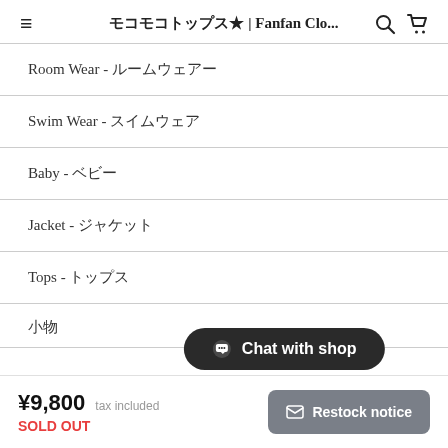モコモコトップス★ | Fanfan Clo...
Room Wear - ルームウェアー
Swim Wear - スイムウェア
Baby - ベビー
Jacket - ジャケット
Tops - トップス
小物
Chat with shop
¥9,800 tax included
SOLD OUT
Restock notice